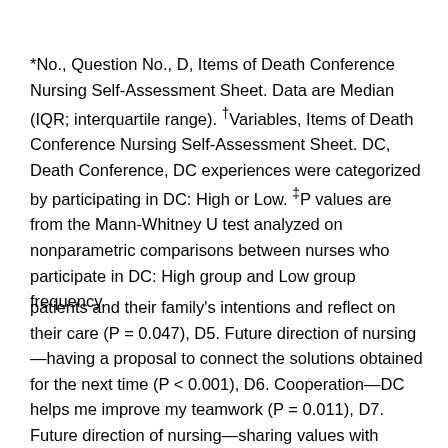*No., Question No., D, Items of Death Conference Nursing Self-Assessment Sheet. Data are Median (IQR; interquartile range). †Variables, Items of Death Conference Nursing Self-Assessment Sheet. DC, Death Conference, DC experiences were categorized by participating in DC: High or Low. ‡P values are from the Mann-Whitney U test analyzed on nonparametric comparisons between nurses who participate in DC: High group and Low group frequency.
patients and their family's intentions and reflect on their care (P = 0.047), D5. Future direction of nursing—having a proposal to connect the solutions obtained for the next time (P < 0.001), D6. Cooperation—DC helps me improve my teamwork (P = 0.011), D7. Future direction of nursing—sharing values with people who have the same thoughts (P = 0.004), D8. Feeling of the nurse—talking at